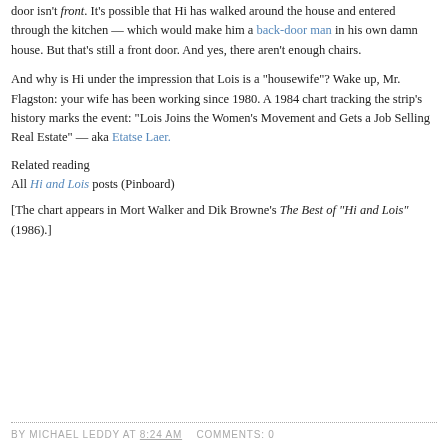door isn't front. It's possible that Hi has walked around the house and entered through the kitchen — which would make him a back-door man in his own damn house. But that's still a front door. And yes, there aren't enough chairs.
And why is Hi under the impression that Lois is a "housewife"? Wake up, Mr. Flagston: your wife has been working since 1980. A 1984 chart tracking the strip's history marks the event: "Lois Joins the Women's Movement and Gets a Job Selling Real Estate" — aka Etatse Laer.
Related reading
All Hi and Lois posts (Pinboard)
[The chart appears in Mort Walker and Dik Browne's The Best of "Hi and Lois" (1986).]
BY MICHAEL LEDDY AT 8:24 AM   COMMENTS: 0